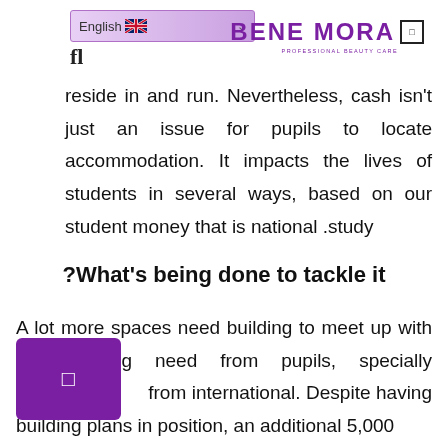English | BENE MORA PROFESSIONAL BEAUTY CARE
reside in and run. Nevertheless, cash isn't just an issue for pupils to locate accommodation. It impacts the lives of students in several ways, based on our student money that is national study.
What's being done to tackle it?
A lot more spaces need building to meet up with the growing need from pupils, specially from international. Despite having building plans in position, an additional 5,000